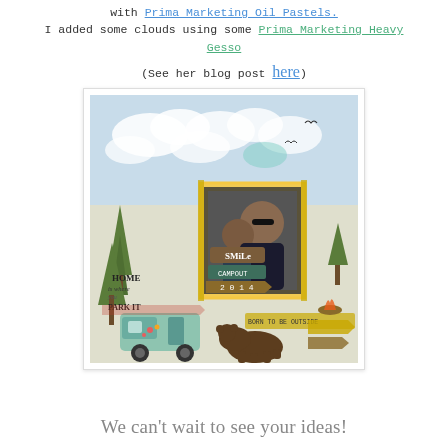with Prima Marketing Oil Pastels. I added some clouds using some Prima Marketing Heavy Gesso (See her blog post here)
[Figure (photo): Scrapbook layout page with camping/outdoor theme. Shows two people (adult and child) in a photo frame surrounded by decorative elements including trees, a camper van, a bear silhouette, birds, clouds background, and text elements saying 'Home is where you park it', 'Smile', 'Born to be outside', '2014'.]
We can't wait to see your ideas!